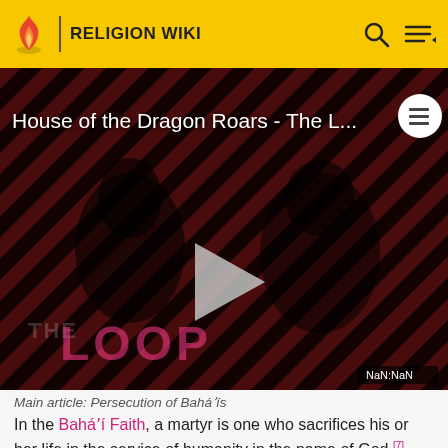RELIGION WIKI
[Figure (screenshot): Video thumbnail for 'House of the Dragon Roars - The L...' showing two silhouetted figures against diagonal red/dark striped background, with THE LOOP text and a play button. NaN:NaN timestamp badge visible.]
Main article: Persecution of Baháʼís
In the Baháʼí Faith, a martyr is one who sacrifices his or her life in the service of humanity in the name of God.[7] However, Baháʼuʼlláh, the founder of the Baháʼí Faith, discouraged the literal meaning of sacrificing one's life, and instead explained that martyrdom is devoting oneself